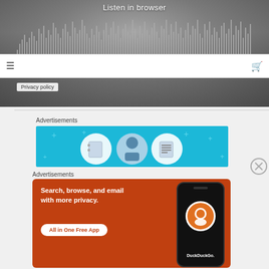[Figure (screenshot): Audio player with waveform visualization and 'Listen in browser' text, black and white background image of a person]
Privacy policy
Advertisements
[Figure (illustration): Blue advertisement banner with circular icons showing a notebook, person, and list/document icons]
Advertisements
[Figure (screenshot): DuckDuckGo advertisement: Search, browse, and email with more privacy. All in One Free App. Shows DuckDuckGo logo on a phone mockup.]